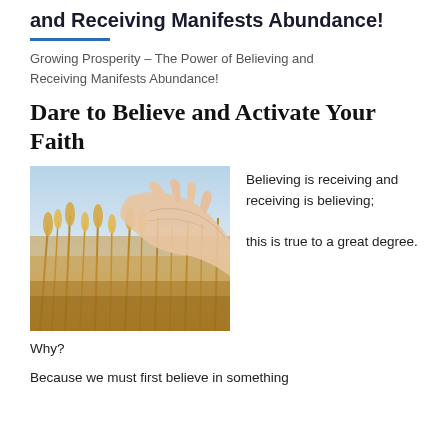and Receiving Manifests Abundance!
Growing Prosperity – The Power of Believing and Receiving Manifests Abundance!
Dare to Believe and Activate Your Faith
[Figure (photo): A hand reaching through golden wheat stalks in a field, with a light sky in the background.]
Believing is receiving and receiving is believing;

this is true to a great degree.
Why?
Because we must first believe in something